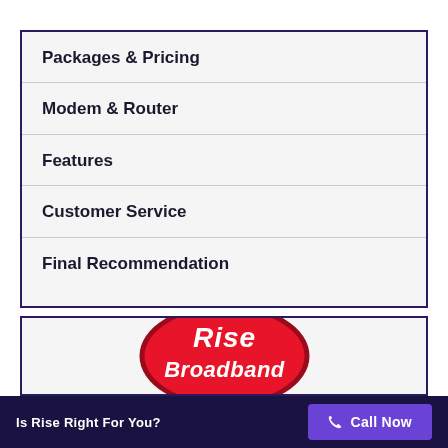Packages & Pricing
Modem & Router
Features
Customer Service
Final Recommendation
[Figure (logo): Rise Broadband logo — white text on red oval with dark red border]
Is Rise Right For You?   Call Now